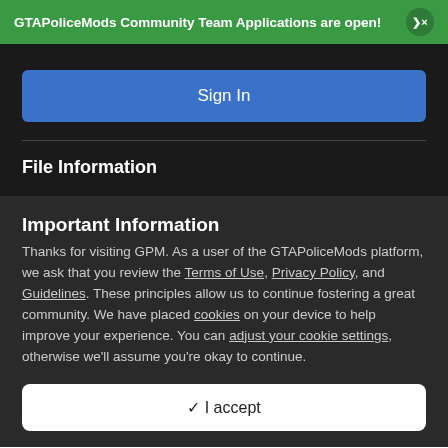GTAPoliceMods Community Team Applications are open! ×
Sign In
File Information
Important Information
Thanks for visiting GPM. As a user of the GTAPoliceMods platform, we ask that you review the Terms of Use, Privacy Policy, and Guidelines. These principles allow us to continue fostering a great community. We have placed cookies on your device to help improve your experience. You can adjust your cookie settings, otherwise we'll assume you're okay to continue.
✓ I accept